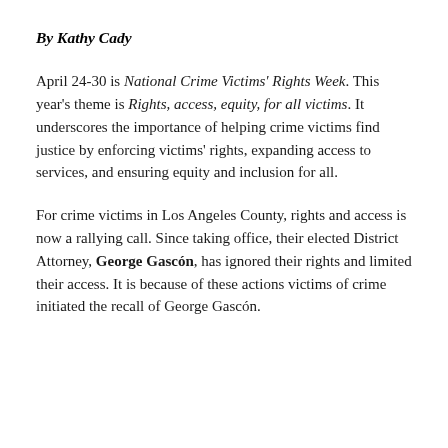By Kathy Cady
April 24-30 is National Crime Victims' Rights Week. This year's theme is Rights, access, equity, for all victims. It underscores the importance of helping crime victims find justice by enforcing victims' rights, expanding access to services, and ensuring equity and inclusion for all.
For crime victims in Los Angeles County, rights and access is now a rallying call. Since taking office, their elected District Attorney, George Gascón, has ignored their rights and limited their access. It is because of these actions victims of crime initiated the recall of George Gascón.